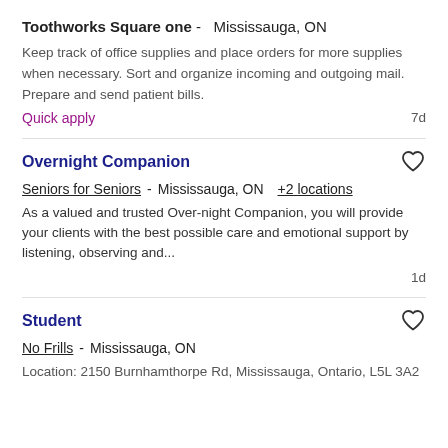Toothworks Square one -  Mississauga, ON
Keep track of office supplies and place orders for more supplies when necessary. Sort and organize incoming and outgoing mail. Prepare and send patient bills.
Quick apply   7d
Overnight Companion
Seniors for Seniors -  Mississauga, ON  +2 locations
As a valued and trusted Over-night Companion, you will provide your clients with the best possible care and emotional support by listening, observing and...
1d
Student
No Frills -  Mississauga, ON
Location: 2150 Burnhamthorpe Rd, Mississauga, Ontario, L5L 3A2